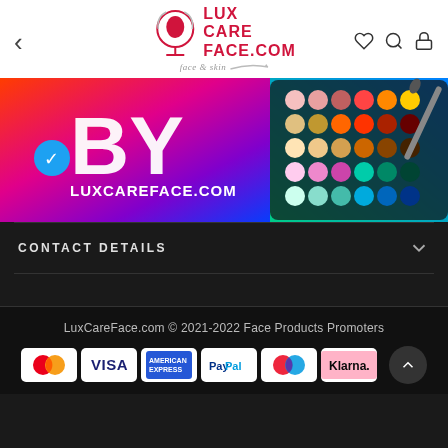[Figure (logo): LuxCareFace.com logo with circular face-in-mirror icon, red bold text LUX CARE FACE.COM, italic tagline face & skin]
[Figure (photo): Promotional banner with colorful gradient background showing BY LUXCAREFACE.COM text with blue verified checkmark badge overlaid on a makeup eyeshadow palette]
CONTACT DETAILS
LuxCareFace.com © 2021-2022 Face Products Promoters
[Figure (infographic): Payment method icons: Mastercard, VISA, American Express, PayPal, Mastercard (Maestro), Klarna]